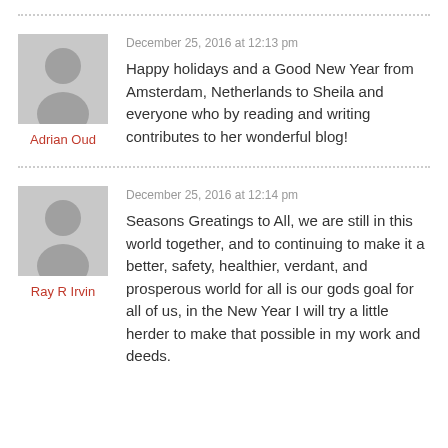Adrian Oud
December 25, 2016 at 12:13 pm
Happy holidays and a Good New Year from Amsterdam, Netherlands to Sheila and everyone who by reading and writing contributes to her wonderful blog!
Ray R Irvin
December 25, 2016 at 12:14 pm
Seasons Greatings to All, we are still in this world together, and to continuing to make it a better, safety, healthier, verdant, and prosperous world for all is our gods goal for all of us, in the New Year I will try a little herder to make that possible in my work and deeds.